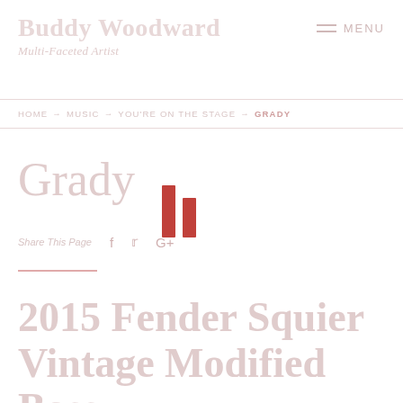Buddy Woodward
Multi-Faceted Artist
MENU
HOME → MUSIC → YOU'RE ON THE STAGE → GRADY
Grady
[Figure (other): Audio player / media control icon with two red vertical bars]
Share This Page  f  t  G+
2015 Fender Squier Vintage Modified Bass